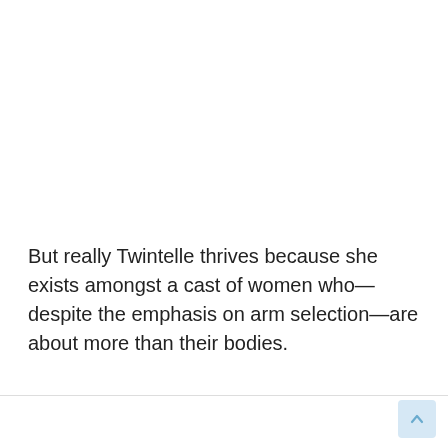But really Twintelle thrives because she exists amongst a cast of women who—despite the emphasis on arm selection—are about more than their bodies.